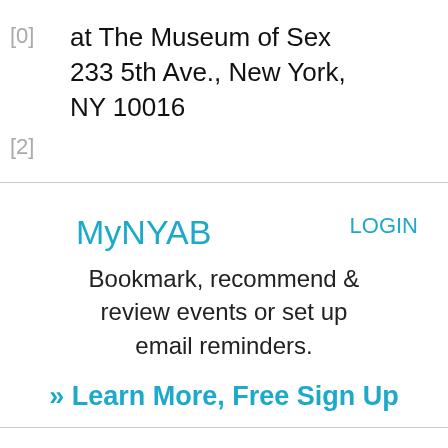[0]   at The Museum of Sex 233 5th Ave., New York, NY 10016
[2]
MyNYAB
LOGIN
Bookmark, recommend & review events or set up email reminders.
» Learn More, Free Sign Up